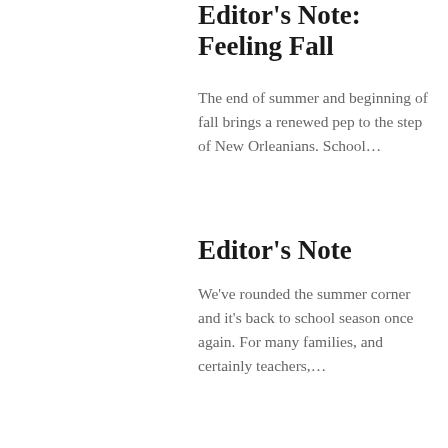Editor's Note: Feeling Fall
The end of summer and beginning of fall brings a renewed pep to the step of New Orleanians. School…
Editor's Note
We've rounded the summer corner and it's back to school season once again. For many families, and certainly teachers,…
[Figure (illustration): Advertisement banner with golden glittery background. Text reads: Come Eat, Drink & Celebrate with Us! KERMIT RUFFINS & THE BARBEQUE SWINGERS    DJ EL CAMINO    WE SEE]